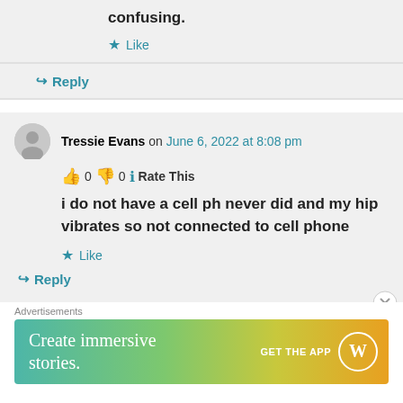confusing.
★ Like
↪ Reply
Tressie Evans on June 6, 2022 at 8:08 pm
👍 0 👎 0 ℹ Rate This
i do not have a cell ph never did and my hip vibrates so not connected to cell phone
★ Like
↪ Reply
Advertisements
[Figure (infographic): WordPress advertisement banner: Create immersive stories. GET THE APP with WordPress logo.]